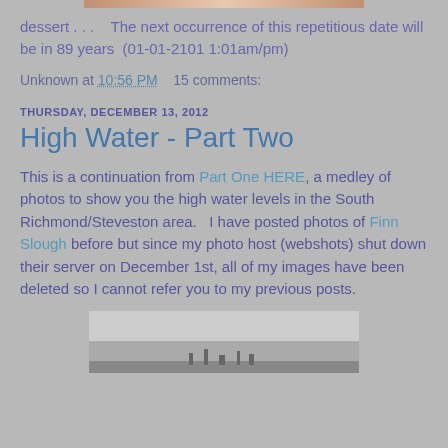[Figure (photo): Partial top edge of a photo, cropped at top of page]
dessert . . .   The next occurrence of this repetitious date will be in 89 years  (01-01-2101 1:01am/pm)
Unknown at 10:56 PM    15 comments:
THURSDAY, DECEMBER 13, 2012
High Water - Part Two
This is a continuation from Part One HERE, a medley of photos to show you the high water levels in the South Richmond/Steveston area.   I have posted photos of Finn Slough before but since my photo host (webshots) shut down their server on December 1st, all of my images have been deleted so I cannot refer you to my previous posts.
[Figure (photo): Landscape photograph showing water and overcast sky, grey tones]